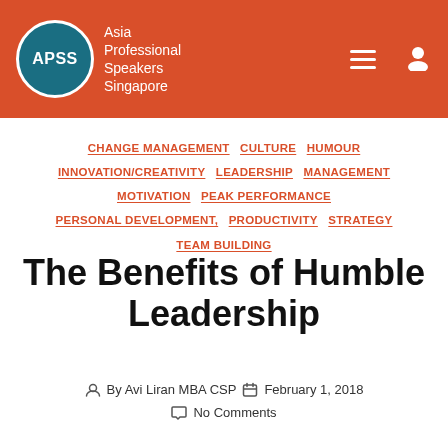Asia Professional Speakers Singapore
CHANGE MANAGEMENT  CULTURE  HUMOUR  INNOVATION/CREATIVITY  LEADERSHIP  MANAGEMENT  MOTIVATION  PEAK PERFORMANCE  PERSONAL DEVELOPMENT,  PRODUCTIVITY  STRATEGY  TEAM BUILDING
The Benefits of Humble Leadership
By Avi Liran MBA CSP   February 1, 2018   No Comments